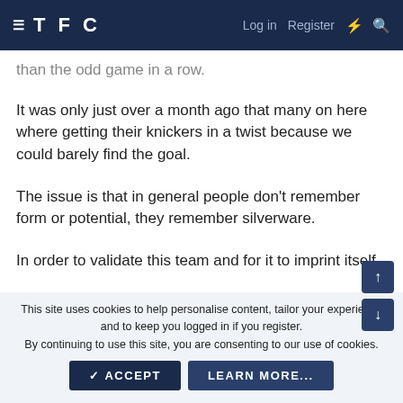TFC  Log in  Register
than the odd game in a row.
It was only just over a month ago that many on here where getting their knickers in a twist because we could barely find the goal.
The issue is that in general people don't remember form or potential, they remember silverware.
In order to validate this team and for it to imprint itself
This site uses cookies to help personalise content, tailor your experience and to keep you logged in if you register.
By continuing to use this site, you are consenting to our use of cookies.